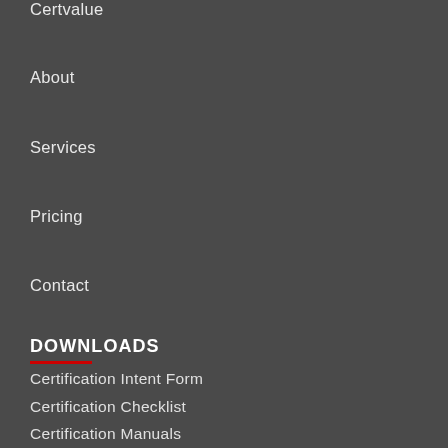Certvalue
About
Services
Pricing
Contact
DOWNLOADS
Certification Intent Form
Certification Checklist
Certification Manuals
ISO Documentation Kit